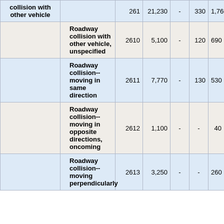|  | Description | Code | Total |  |  |  |  |
| --- | --- | --- | --- | --- | --- | --- | --- |
| Roadway collision with other vehicle |  | 261 | 21,230 | - | 330 | 1,760 | 4, |
|  | Roadway collision with other vehicle, unspecified | 2610 | 5,100 | - | 120 | 690 |  |
|  | Roadway collision-- moving in same direction | 2611 | 7,770 | - | 130 | 530 | 1, |
|  | Roadway collision-- moving in opposite directions, oncoming | 2612 | 1,100 | - | - | 40 |  |
|  | Roadway collision-- moving perpendicularly | 2613 | 3,250 | - | - | 260 |  |